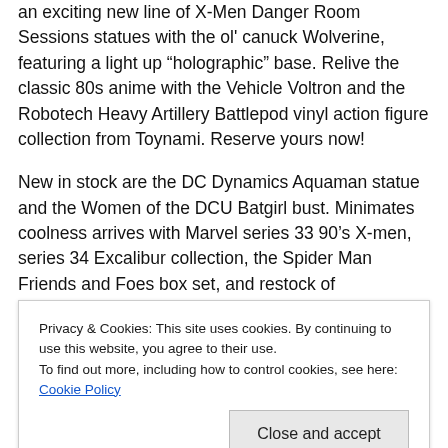an exciting new line of X-Men Danger Room Sessions statues with the ol' canuck Wolverine, featuring a light up “holographic” base. Relive the classic 80s anime with the Vehicle Voltron and the Robotech Heavy Artillery Battlepod vinyl action figure collection from Toynami. Reserve yours now!
New in stock are the DC Dynamics Aquaman statue and the Women of the DCU Batgirl bust. Minimates coolness arrives with Marvel series 33 90’s X-men, series 34 Excalibur collection, the Spider Man Friends and Foes box set, and restock of Ghostbusters minimates sets.
Privacy & Cookies: This site uses cookies. By continuing to use this website, you agree to their use.
To find out more, including how to control cookies, see here: Cookie Policy
ship!